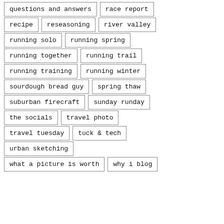questions and answers
race report
recipe
reseasoning
river valley
running solo
running spring
running together
running trail
running training
running winter
sourdough bread guy
spring thaw
suburban firecraft
sunday runday
the socials
travel photo
travel tuesday
tuck & tech
urban sketching
what a picture is worth
why i blog